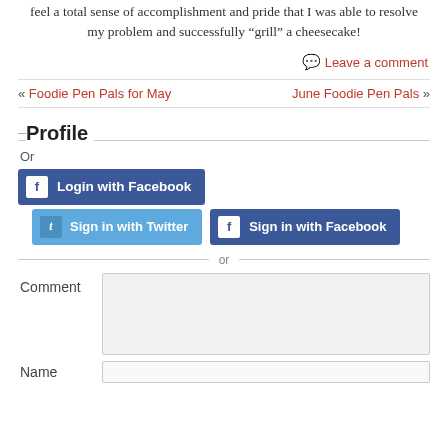feel a total sense of accomplishment and pride that I was able to resolve my problem and successfully “grill” a cheesecake!
Leave a comment
« Foodie Pen Pals for May
June Foodie Pen Pals »
Profile
Or
Login with Facebook
Sign in with Twitter
Sign in with Facebook
or
Comment
Name